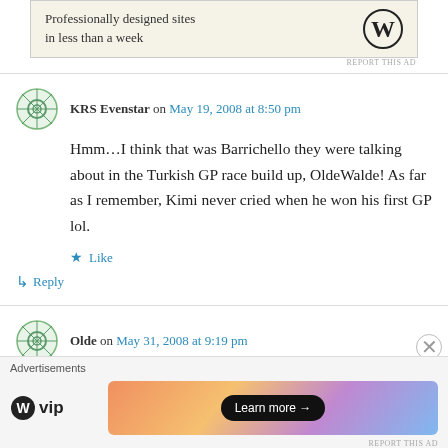[Figure (screenshot): WordPress ad banner: 'Professionally designed sites in less than a week' with WordPress logo]
REPORT THIS AD
KRS Evenstar on May 19, 2008 at 8:50 pm
Hmm…I think that was Barrichello they were talking about in the Turkish GP race build up, OldeWalde! As far as I remember, Kimi never cried when he won his first GP lol.
Like
Reply
Olde on May 31, 2008 at 9:19 pm
[Figure (screenshot): Advertisement footer: WordPress VIP logo and 'Learn more' button with gradient banner]
REPORT THIS AD